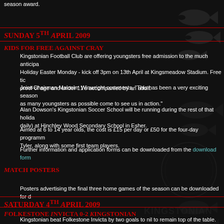season award.
Sunday 5th April 2009
Kids for free against Cray
Kingstonian Football Club are offering youngsters free admission to the much anticipated Holiday Easter Monday - kick off 3pm on 13th April at Kingsmeadow Stadium. Free tickets proof of age and under 11's accompanied by an adult.
Joint-Chairman Malcolm Winwright comments, "This has been a very exciting season as many youngsters as possible come to see us in action."
Alan Dowson's Kingstonian Soccer School will be running during the rest of that holiday (daily) at Hinchley Wood Secondary School in Esher.
Aimed at 6 to 14 year olds, the cost is £15 per day or £50 for the four-day programme Tyler, along with some first team players.
Further information and application forms can be downloaded from the download form
Match posters
Posters advertising the final three home games of the season can be downloaded for d
Saturday 4th April 2009
Folkestone Invicta 0-2 Kingstonian
Kingstonian beat Folkestone Invicta by two goals to nil to remain top of the table. Bob 21st minute before Adam Thompson added a second on the half hour mark. Simon H line in a goal-less second half.
Full details of the match are now available.